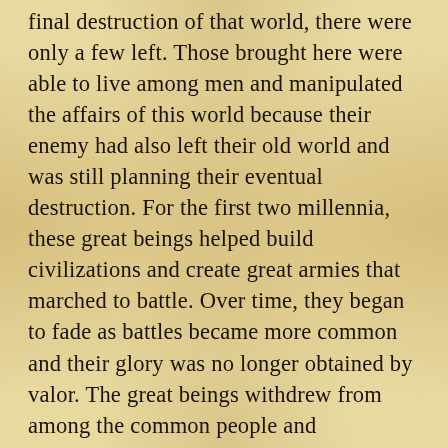final destruction of that world, there were only a few left. Those brought here were able to live among men and manipulated the affairs of this world because their enemy had also left their old world and was still planning their eventual destruction. For the first two millennia, these great beings helped build civilizations and create great armies that marched to battle. Over time, they began to fade as battles became more common and their glory was no longer obtained by valor. The great beings withdrew from among the common people and manipulated affairs from behind the scenes. Ages have past and the temple where they hid was forgotten and lost by